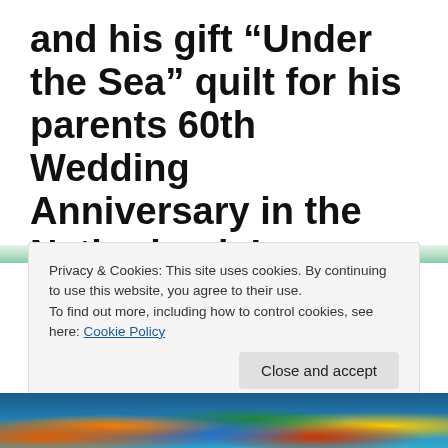and his gift “Under the Sea” quilt for his parents 60th Wedding Anniversary in the Netherlands!
For Hendrik’s parents’ 60th wedding anniversary coming up!!... He bought an original work of art for them: It is a quilt, a beautiful wall-hanging, depicting a tropical fantasy scene that is called “Under the Sea”.
Privacy & Cookies: This site uses cookies. By continuing to use this website, you agree to their use.
To find out more, including how to control cookies, see here: Cookie Policy
[Figure (photo): Partial view of a colorful quilt depicting an underwater/tropical fantasy scene with bright colors including orange, blue, green, red, and yellow.]